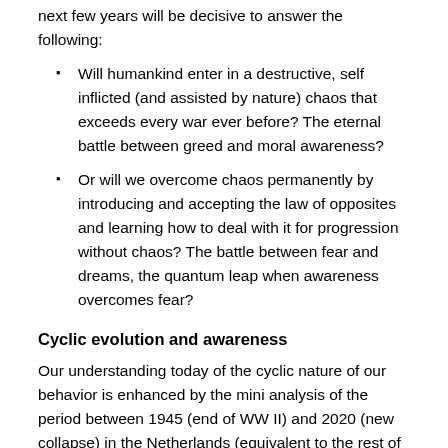next few years will be decisive to answer the following:
Will humankind enter in a destructive, self inflicted (and assisted by nature) chaos that exceeds every war ever before? The eternal battle between greed and moral awareness?
Or will we overcome chaos permanently by introducing and accepting the law of opposites and learning how to deal with it for progression without chaos? The battle between fear and dreams, the quantum leap when awareness overcomes fear?
Cyclic evolution and awareness
Our understanding today of the cyclic nature of our behavior is enhanced by the mini analysis of the period between 1945 (end of WW II) and 2020 (new collapse) in the Netherlands (equivalent to the rest of the world in